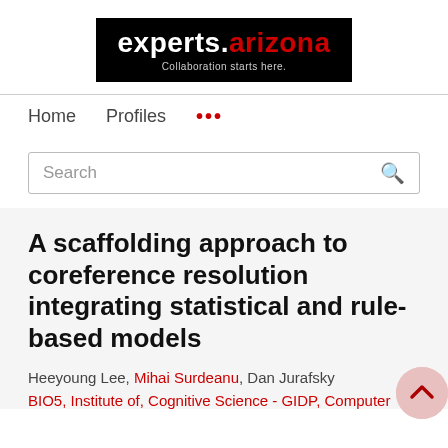[Figure (logo): experts.arizona logo — black background with white 'experts.' text and red 'arizona' text, tagline 'Collaboration starts here.']
Home   Profiles   ...
Search
A scaffolding approach to coreference resolution integrating statistical and rule-based models
Heeyoung Lee, Mihai Surdeanu, Dan Jurafsky
BIO5, Institute of, Cognitive Science - GIDP, Computer